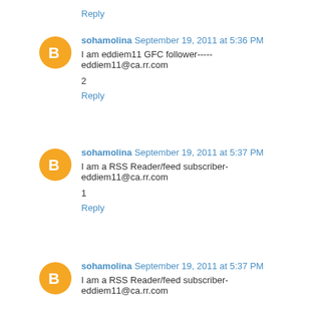Reply
sohamolina September 19, 2011 at 5:36 PM
I am eddiem11 GFC follower-----eddiem11@ca.rr.com
2
Reply
sohamolina September 19, 2011 at 5:37 PM
I am a RSS Reader/feed subscriber- eddiem11@ca.rr.com
1
Reply
sohamolina September 19, 2011 at 5:37 PM
I am a RSS Reader/feed subscriber- eddiem11@ca.rr.com